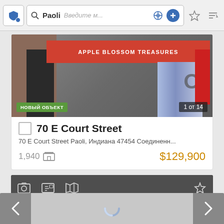[Figure (screenshot): Mobile app navigation bar with shield icon, search field showing 'Paoli', placeholder text 'Введите м...', location/add icons, star and sort icons]
[Figure (photo): Storefront photo of Apple Blossom Treasures shop with red banner sign, green 'НОВЫЙ ОБЪЕКТ' badge, and '1 от 14' counter]
70 E Court Street
70 E Court Street Paoli, Индиана 47454 Соединенн...
1,940    $129,900
[Figure (screenshot): Second listing card toolbar with photo, contact, map icons and star/favorite icon on gray background]
[Figure (screenshot): Bottom navigation with left arrow, loading spinner, right arrow]